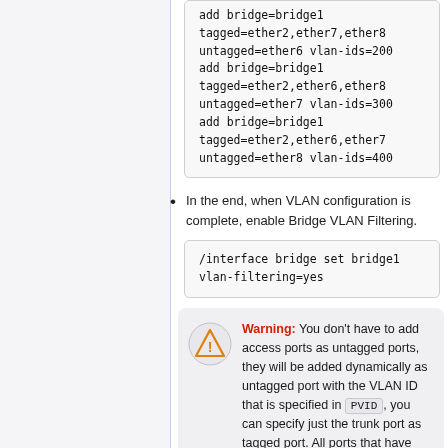add bridge=bridge1 tagged=ether2,ether7,ether8 untagged=ether6 vlan-ids=200 add bridge=bridge1 tagged=ether2,ether6,ether8 untagged=ether7 vlan-ids=300 add bridge=bridge1 tagged=ether2,ether6,ether7 untagged=ether8 vlan-ids=400
In the end, when VLAN configuration is complete, enable Bridge VLAN Filtering.
/interface bridge set bridge1 vlan-filtering=yes
Warning: You don't have to add access ports as untagged ports, they will be added dynamically as untagged port with the VLAN ID that is specified in PVID, you can specify just the trunk port as tagged port. All ports that have the same PVID set will be added as untagged ports in a single entry. You